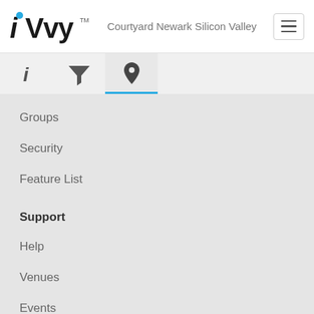[Figure (logo): iVvy logo with stylized i in italic and Vvy in bold black, with a cyan/blue accent dot]
Courtyard Newark Silicon Valley
[Figure (other): Hamburger menu button with three horizontal lines]
[Figure (other): Tab bar with three icons: info (i), filter (funnel), and location pin. The location pin tab is active with blue underline.]
Groups
Security
Feature List
Support
Help
Venues
Events
Marketplace FAQs
API
Site Info